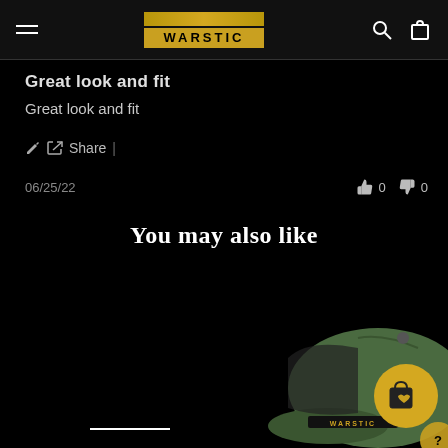Warstic navigation bar with hamburger menu, logo, search and cart icons
Great look and fit
Great look and fit
Share |
06/25/22   👍 0   👎 0
You may also like
[Figure (photo): Green and dark baseball cap with Warstic logo, shown in bottom-right corner with a gold add-to-wishlist button overlay]